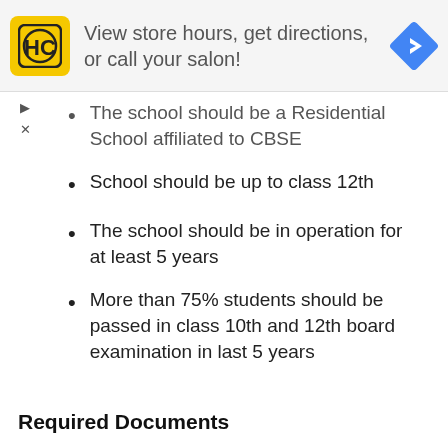[Figure (other): Advertisement banner: HC logo (yellow square with HC text), text 'View store hours, get directions, or call your salon!', and a blue navigation diamond icon on the right]
The school should be a Residential School affiliated to CBSE
School should be up to class 12th
The school should be in operation for at least 5 years
More than 75% students should be passed in class 10th and 12th board examination in last 5 years
Required Documents